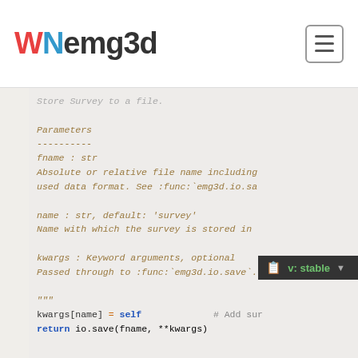wNemg3d
Code block showing Python docstring and code for Survey.save and Survey.from_file methods, including parameters fname (str), name (str, default: 'survey'), kwargs (Keyword arguments, optional), and code lines: kwargs[name] = self  # Add sur, return io.save(fname, **kwargs), @classmethod, @utils._requires('xarray'), def from_file(cls, fname, name='survey', **kwarg, """Load Survey from a file.